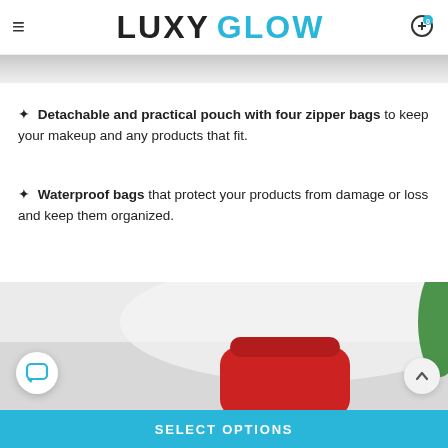LUXY GLOW
[Figure (photo): Top portion of a product image, light gray marble or fabric background]
✦ Detachable and practical pouch with four zipper bags to keep your makeup and any products that fit.
✦ Waterproof bags that protect your products from damage or loss and keep them organized.
[Figure (photo): Product photo showing white fabric/cloth with a red bag and green leaf in the background, with a chat bubble button and scroll-to-top button overlaid]
SELECT OPTIONS